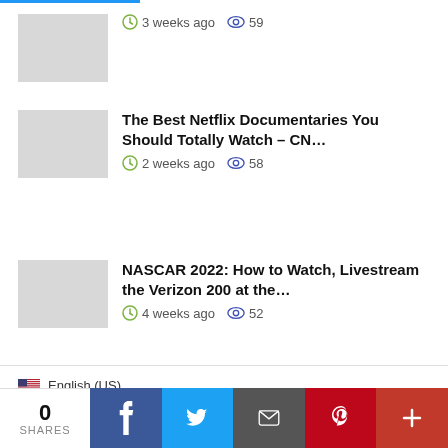[Figure (other): Article thumbnail placeholder (gray box)]
3 weeks ago  59
The Best Netflix Documentaries You Should Totally Watch – CN…
2 weeks ago  58
NASCAR 2022: How to Watch, Livestream the Verizon 200 at the…
4 weeks ago  52
English (US)
Terms · About Us · Contact Us ·
© TechFishNews 2022. All rights are reserved
0 SHARES